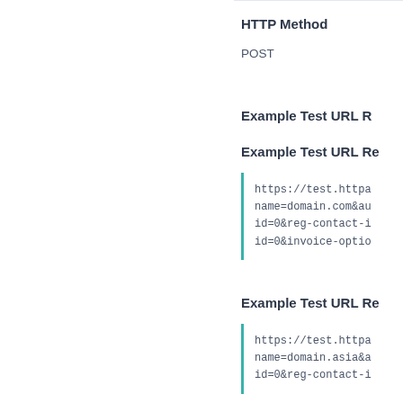HTTP Method
POST
Example Test URL R
Example Test URL Re
https://test.httpa
name=domain.com&au
id=0&reg-contact-i
id=0&invoice-optio
Example Test URL Re
https://test.httpa
name=domain.asia&a
id=0&reg-contact-i